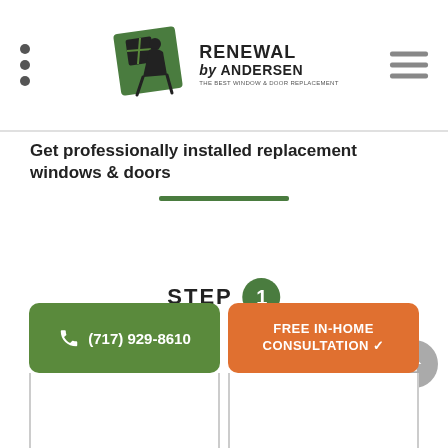[Figure (logo): Renewal by Andersen logo with green and black graphic of window installer and text 'RENEWAL by ANDERSEN' with tagline 'THE BEST WINDOW & DOOR REPLACEMENT']
Get professionally installed replacement windows & doors
STEP 1
(717) 929-8610
FREE IN-HOME CONSULTATION ✓